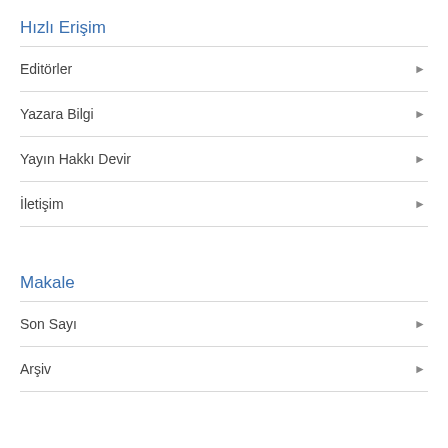Hızlı Erişim
Editörler
Yazara Bilgi
Yayın Hakkı Devir
İletişim
Makale
Son Sayı
Arşiv